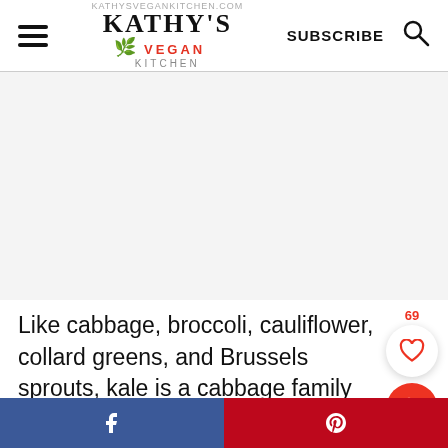Kathy's Vegan Kitchen — SUBSCRIBE
[Figure (other): Advertisement placeholder area (blank gray rectangle)]
Like cabbage, broccoli, cauliflower, collard greens, and Brussels sprouts, kale is a cabbage family member.  Hearty and nutrient-dense kale is one of my favorites